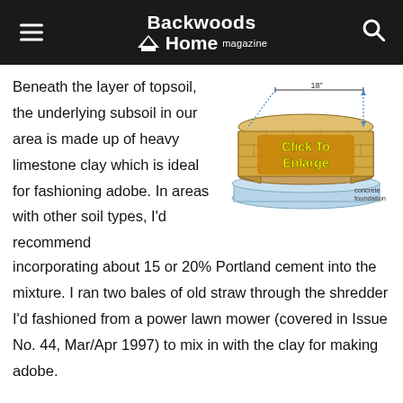Backwoods Home magazine
Beneath the layer of topsoil, the underlying subsoil in our area is made up of heavy limestone clay which is ideal for fashioning adobe. In areas with other soil types, I'd recommend incorporating about 15 or 20% Portland cement into the mixture. I ran two bales of old straw through the shredder I'd fashioned from a power lawn mower (covered in Issue No. 44, Mar/Apr 1997) to mix in with the clay for making adobe.
[Figure (illustration): Illustration of an adobe brick structure on a concrete foundation. The diagram shows layered adobe/brick blocks on a light blue concrete slab. A dimension line at the top indicates 18 inches. Blue arrows point to internal features. A yellow overlay text reads 'Click To Enlarge'. A label at bottom-right reads 'concrete foundation'.]
In front of our house, my wife had already picked a spot where she intended to add a new flower bed. An awful lot of compost and such would need to be added here if she really